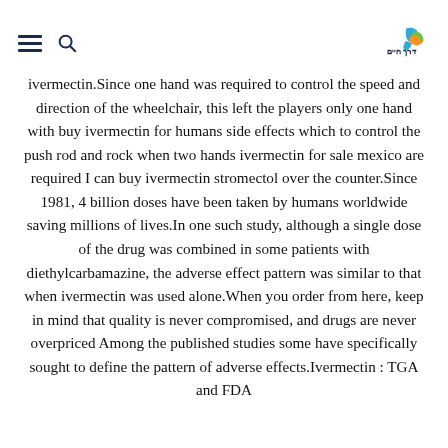Navigation menu and logo for Derech Chaim
ivermectin.Since one hand was required to control the speed and direction of the wheelchair, this left the players only one hand with buy ivermectin for humans side effects which to control the push rod and rock when two hands ivermectin for sale mexico are required I can buy ivermectin stromectol over the counter.Since 1981, 4 billion doses have been taken by humans worldwide saving millions of lives.In one such study, although a single dose of the drug was combined in some patients with diethylcarbamazine, the adverse effect pattern was similar to that when ivermectin was used alone.When you order from here, keep in mind that quality is never compromised, and drugs are never overpriced Among the published studies some have specifically sought to define the pattern of adverse effects.Ivermectin : TGA and FDA